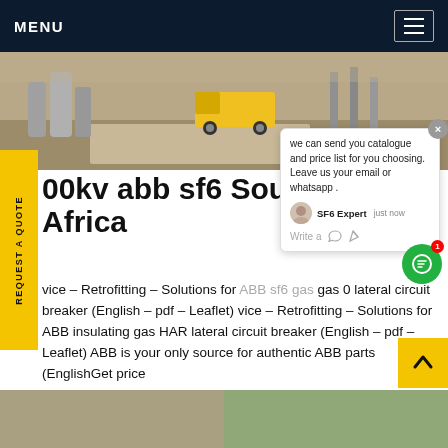MENU
[Figure (photo): Industrial facility with pipes, tanks and a yellow truck in the background on a dirt ground]
REQUEST A QUOTE
00kv abb sf6 South Africa
vice - Retrofitting - Solutions for ABB sf6 gas gas 0 lateral circuit breaker (English - pdf - Leaflet) vice - Retrofitting - Solutions for ABB insulating gas HAR lateral circuit breaker (English - pdf - Leaflet) ABB is your only source for authentic ABB parts (EnglishGet price
[Figure (screenshot): Chat popup with SF6 Expert saying: we can send you catalogue and price list for you choosing. Leave us your email or whatsapp.]
[Figure (photo): Two thumbnail images at the bottom of the page showing outdoor industrial scenes]